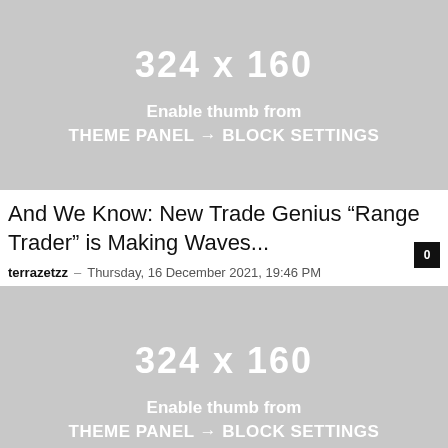[Figure (other): Gray placeholder image showing '324 x 160' with text 'Enable thumb from THEME PANEL → BLOCK SETTINGS']
And We Know: New Trade Genius “Range Trader” is Making Waves...
terrazetzz – Thursday, 16 December 2021, 19:46 PM   0
[Figure (other): Gray placeholder image showing '324 x 160' with text 'Enable thumb from THEME PANEL → BLOCK SETTINGS']